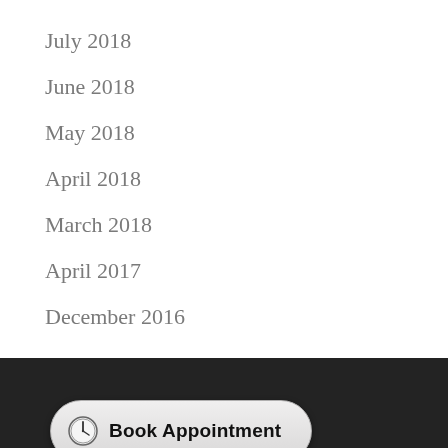July 2018
June 2018
May 2018
April 2018
March 2018
April 2017
December 2016
[Figure (screenshot): Book Appointment button with clock icon on dark background]